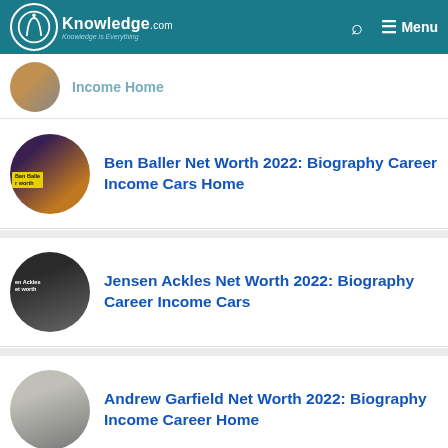AAKnowledge.com — Knowledge is Everything | Menu
Income Home (partial, truncated)
Ben Baller Net Worth 2022: Biography Career Income Cars Home
Jensen Ackles Net Worth 2022: Biography Career Income Cars
Andrew Garfield Net Worth 2022: Biography Income Career Home